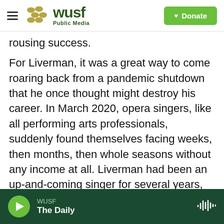WUSF Public Media — Donate
rousing success.
For Liverman, it was a great way to come roaring back from a pandemic shutdown that he once thought might destroy his career. In March 2020, opera singers, like all performing arts professionals, suddenly found themselves facing weeks, then months, then whole seasons without any income at all. Liverman had been an up-and-coming singer for several years, had performed at the Met, and had just been announced as winner of the Washington National Opera's Marian Anderson Award. Now, he was signing up to take digital marketing classes
WUSF — The Daily